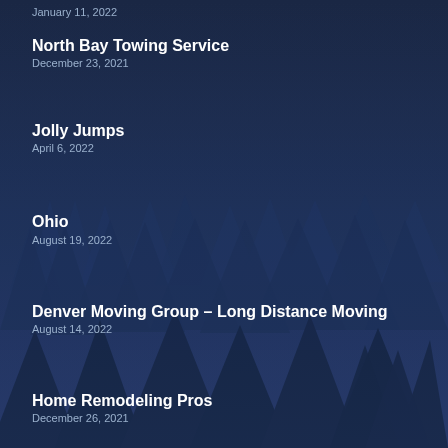January 11, 2022
North Bay Towing Service
December 23, 2021
Jolly Jumps
April 6, 2022
Ohio
August 19, 2022
Denver Moving Group – Long Distance Moving
August 14, 2022
Home Remodeling Pros
December 26, 2021